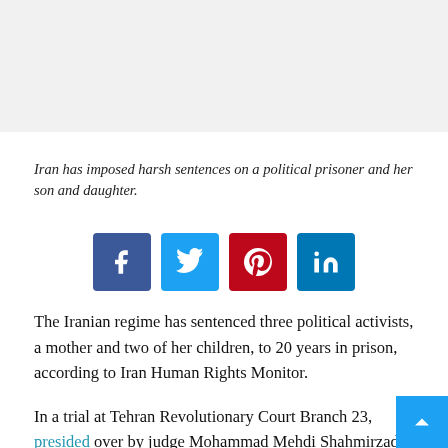[Figure (other): Gray placeholder image area at top of page]
Iran has imposed harsh sentences on a political prisoner and her son and daughter.
[Figure (other): Social sharing buttons: Facebook, Twitter, Pinterest, LinkedIn]
The Iranian regime has sentenced three political activists, a mother and two of her children, to 20 years in prison, according to Iran Human Rights Monitor.
In a trial at Tehran Revolutionary Court Branch 23, presided over by judge Mohammad Mehdi Shahmirzadi, political prisoner Zahra Safaei, her daughter Parastoo Moin